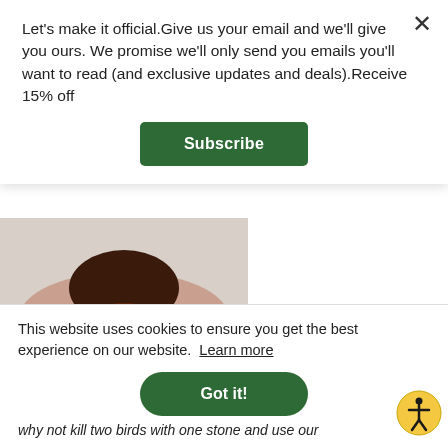Let's make it official.Give us your email and we'll give you ours. We promise we'll only send you emails you'll want to read (and exclusive updates and deals).Receive 15% off
Subscribe
[Figure (photo): A chocolate lava cake on a pink plate with chocolate crumbles, on a light textured background]
Mini Chocolate-Espresso Lava Cakes with Sea Salt by @ketointhecity_
This website uses cookies to ensure you get the best experience on our website.  Learn more
Got it!
why not kill two birds with one stone and use our